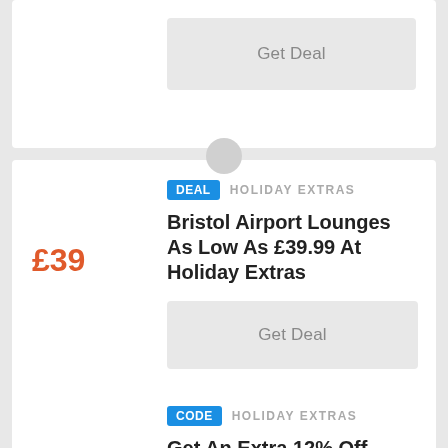Get Deal
DEAL   HOLIDAY EXTRAS
Bristol Airport Lounges As Low As £39.99 At Holiday Extras
£39
Get Deal
CODE   HOLIDAY EXTRAS
Get An Extra 12% Off Airport Hotels
12%
PROMOHCP12